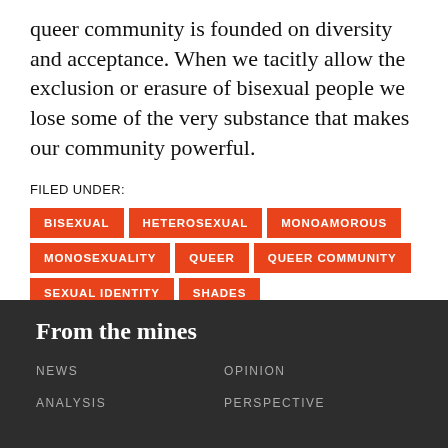queer community is founded on diversity and acceptance. When we tacitly allow the exclusion or erasure of bisexual people we lose some of the very substance that makes our community powerful.
FILED UNDER:
BISEXUAL
HETEROSEXUAL
MONOAMOROUS
MONOSEXUALITY
QUEER
QUEER COMMUNITY
SEXUAL IDENTITY
SHADES
[Figure (infographic): Three circular social share buttons: Facebook (f), Twitter (bird), Email (envelope)]
From the mines
NEWS
OPINION
ANALYSIS
PERSPECTIVE